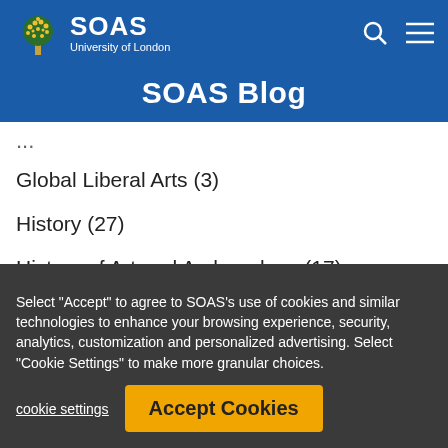[Figure (logo): SOAS University of London logo with tree graphic in navigation bar]
SOAS Blog
Global Liberal Arts (3)
History (27)
History of Art and Archaeology (17)
International Studies and Diplomacy (2)
Languages and Cultures (101)
Law (49)
League Tables (5)
Learning and Teaching (3)
LGBTQIA+ (7)
Life at SOAS (152)
Linguistics (17)
Media Studies (64)
Music (47)
Politics and International S... (...)
Select "Accept" to agree to SOAS's use of cookies and similar technologies to enhance your browsing experience, security, analytics, customization and personalized advertising. Select "Cookie Settings" to make more granular choices.
cookie settings
Accept Cookies